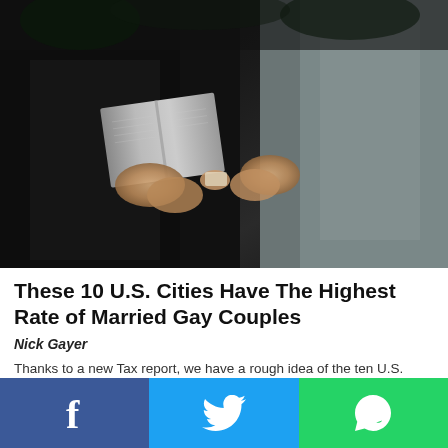[Figure (photo): Wedding scene showing two people in formal attire. A person in black holds an open book (likely an officiant with a Bible or wedding book), and another person in a light gray suit stands to the right. Hands are visible exchanging or holding items, likely rings or vows. Dark outdoor background.]
These 10 U.S. Cities Have The Highest Rate of Married Gay Couples
Nick Gayer
Thanks to a new Tax report, we have a rough idea of the ten U.S. cities with the highest rate of married gay couples in them. Using the Tax Policy Center to count as a census
[Figure (other): Social media sharing bar with three buttons: Facebook (blue, f icon), Twitter (light blue, bird icon), WhatsApp (green, phone icon)]